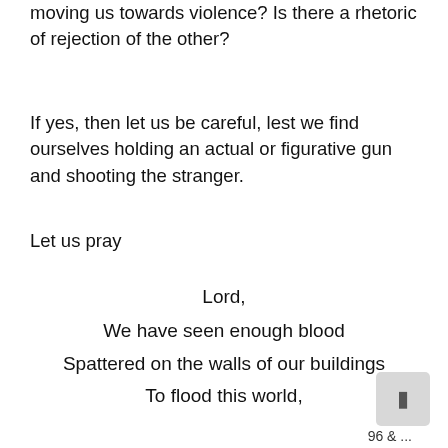moving us towards violence? Is there a rhetoric of rejection of the other?
If yes, then let us be careful, lest we find ourselves holding an actual or figurative gun and shooting the stranger.
Let us pray
Lord,
We have seen enough blood
Spattered on the walls of our buildings
To flood this world,
When shall the rain stop?
Amen
96 & ...